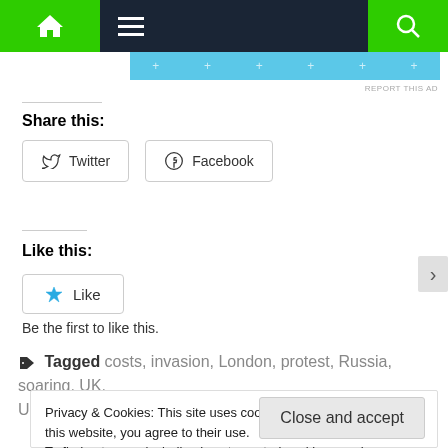Navigation bar with home, menu, and search icons
[Figure (screenshot): Teal/cyan advertisement bar with plus crosses]
REPORT THIS AD
Share this:
Twitter   Facebook
Like this:
Like
Be the first to like this.
Tagged costs, invasion, London, protest, Russia, soaring, UK, Ukraine, war
Privacy & Cookies: This site uses cookies. By continuing to use this website, you agree to their use.
To find out more, including how to control cookies, see here:
Cookie Policy
Close and accept